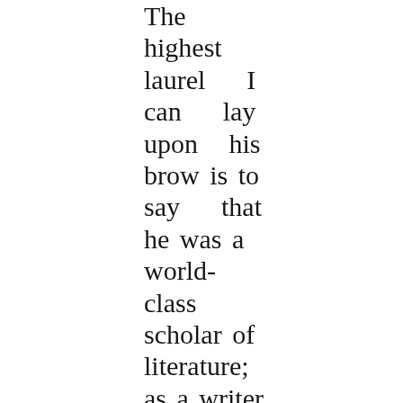The highest laurel I can lay upon his brow is to say that he was a world-class scholar of literature; as a writer in his notice, especially one newly published, that